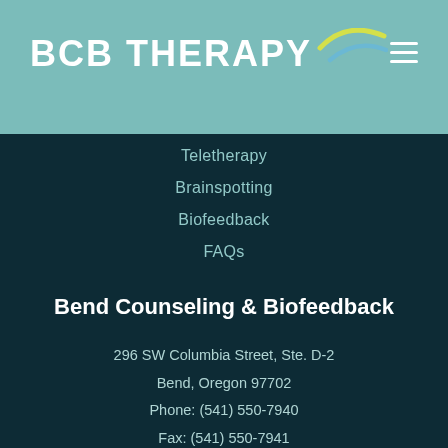[Figure (logo): BCB Therapy logo with text and swoosh graphic on teal background]
Teletherapy
Brainspotting
Biofeedback
FAQs
Bend Counseling & Biofeedback
296 SW Columbia Street, Ste. D-2
Bend, Oregon 97702
Phone: (541) 550-7940
Fax: (541) 550-7941
Contact Us Today